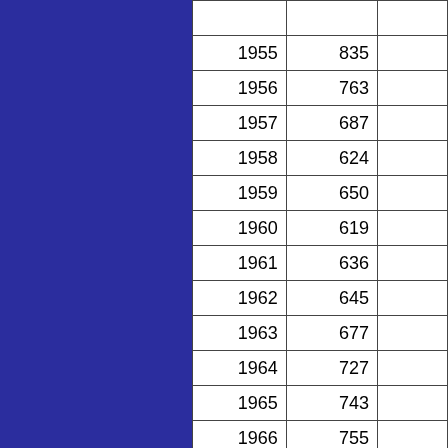| Year | Value |  |
| --- | --- | --- |
| 1955 | 835 |  |
| 1956 | 763 |  |
| 1957 | 687 |  |
| 1958 | 624 |  |
| 1959 | 650 |  |
| 1960 | 619 |  |
| 1961 | 636 |  |
| 1962 | 645 |  |
| 1963 | 677 |  |
| 1964 | 727 |  |
| 1965 | 743 |  |
| 1966 | 755 |  |
| 1967 | 680 |  |
| 1968 | 757 |  |
| 1969 | 836 |  |
| 1970 |  |  |